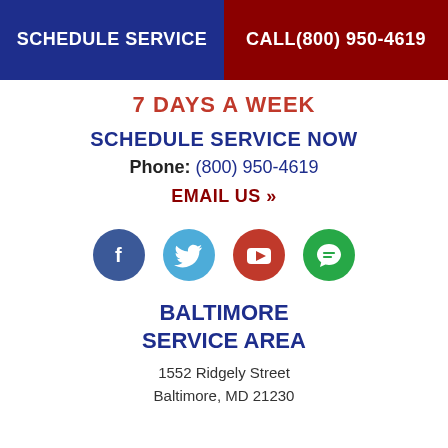SCHEDULE SERVICE | CALL(800) 950-4619
7 DAYS A WEEK
SCHEDULE SERVICE NOW
Phone: (800) 950-4619
EMAIL US »
[Figure (infographic): Four social media icons in circles: Facebook (dark blue), Twitter (light blue), YouTube (red), chat/messaging (green)]
BALTIMORE SERVICE AREA
1552 Ridgely Street
Baltimore, MD 21230